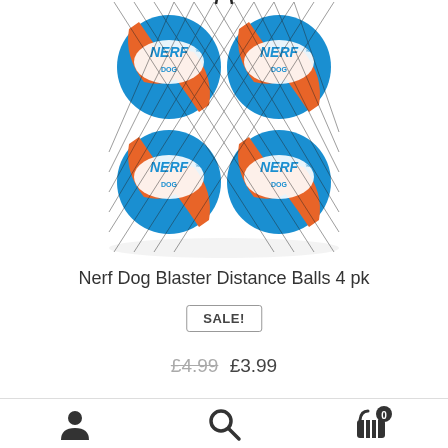[Figure (photo): Four Nerf Dog Blaster Distance Balls (blue with orange stripes) in a black mesh net bag, photographed on white background]
Nerf Dog Blaster Distance Balls 4 pk
SALE!
£4.99  £3.99